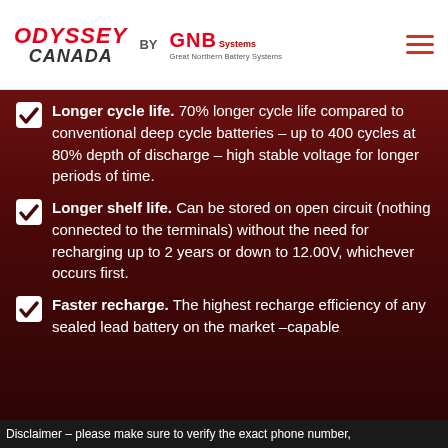[Figure (logo): Odyssey Canada by GNB Great Northern Battery Systems logo with hamburger menu icon]
Longer cycle life. 70% longer cycle life compared to conventional deep cycle batteries – up to 400 cycles at 80% depth of discharge – high stable voltage for longer periods of time.
Longer shelf life. Can be stored on open circuit (nothing connected to the terminals) without the need for recharging up to 2 years or down to 12.00V, whichever occurs first.
Faster recharge. The highest recharge efficiency of any sealed lead battery on the market – capable
Disclaimer – please make sure to verify the exact phone number,